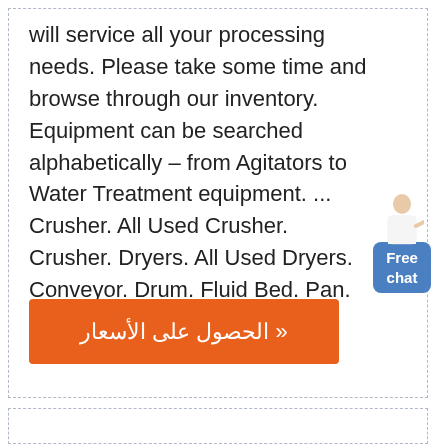will service all your processing needs. Please take some time and browse through our inventory. Equipment can be searched alphabetically – from Agitators to Water Treatment equipment. ... Crusher. All Used Crusher. Crusher. Dryers. All Used Dryers. Conveyor. Drum. Fluid Bed. Pan. Rotary. Shelf. Calciner.
[Figure (other): Orange button with Arabic text 'الحصول على الأسعار »' (Get prices)]